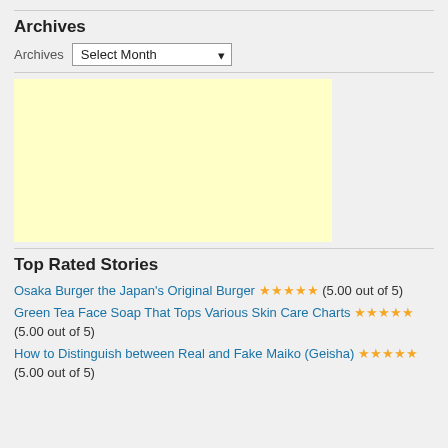Archives
Archives  Select Month
[Figure (other): Yellow advertisement placeholder box]
Top Rated Stories
Osaka Burger the Japan's Original Burger ★★★★★ (5.00 out of 5)
Green Tea Face Soap That Tops Various Skin Care Charts ★★★★★ (5.00 out of 5)
How to Distinguish between Real and Fake Maiko (Geisha) ★★★★★ (5.00 out of 5)